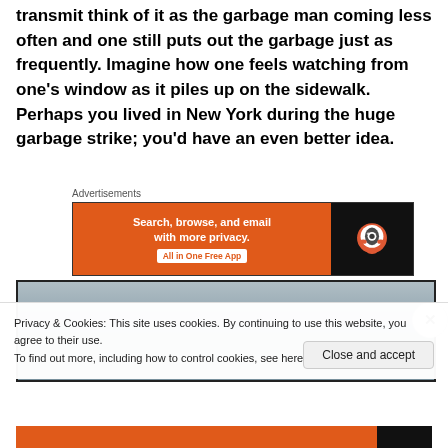transmit think of it as the garbage man coming less often and one still puts out the garbage just as frequently. Imagine how one feels watching from one's window as it piles up on the sidewalk. Perhaps you lived in New York during the huge garbage strike; you'd have an even better idea.
[Figure (screenshot): Advertisement banner for DuckDuckGo: orange left panel with text 'Search, browse, and email with more privacy. All in One Free App' and black right panel with DuckDuckGo logo]
[Figure (photo): Partial view of a grey cloudy sky image partially covered by cookie consent notice]
Privacy & Cookies: This site uses cookies. By continuing to use this website, you agree to their use.
To find out more, including how to control cookies, see here: Cookie Policy